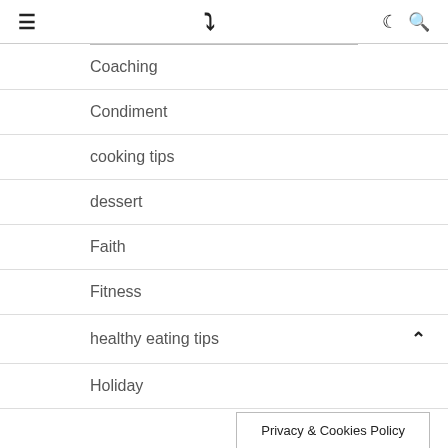≡  ❯  ☾  🔍
Coaching
Condiment
cooking tips
dessert
Faith
Fitness
healthy eating tips
Holiday
Privacy & Cookies Policy